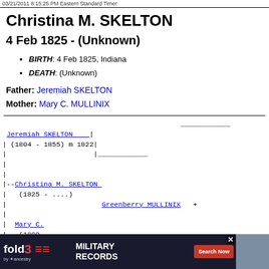03/21/2011 8:15:25 PM Eastern Standard Timer
Christina M. SKELTON
4 Feb 1825 - (Unknown)
BIRTH: 4 Feb 1825, Indiana
DEATH: (Unknown)
Father: Jeremiah SKELTON
Mother: Mary C. MULLINIX
Jeremiah SKELTON
(1804 - 1855) m 1822
--Christina M. SKELTON
(1825 - ....)
Mary C...
(1809...)
Greenberry MULLINIX +
[Figure (other): Fold3 Military Records advertisement banner]